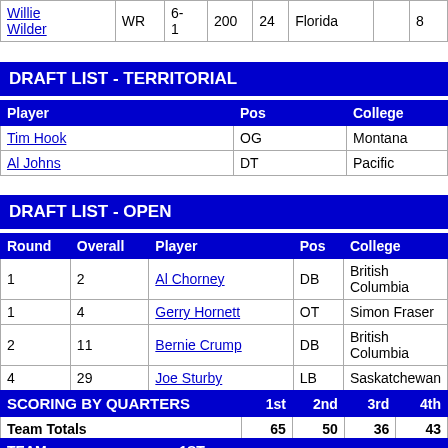| Player |  | Pos | Ht | Wt | Age | College |  | # |
| --- | --- | --- | --- | --- | --- | --- | --- | --- |
| Willie Wilder |  | WR | 6-1 | 200 | 24 | Florida |  | 8 |
DRAFT LIST - TERRITORIAL
| Player |  | Pos |  | College |  |
| --- | --- | --- | --- | --- | --- |
| Tim Hook |  | OG |  | Montana |  |
| Al Johns |  | DT |  | Pacific |  |
DRAFT LIST - OPEN
| Round | Overall | Player |  | Pos | College |  |
| --- | --- | --- | --- | --- | --- | --- |
| 1 | 2 | Al Chorney |  | DB | British Columbia |  |
| 1 | 4 | Gerry Hornett |  | OT | Simon Fraser |  |
| 2 | 11 | Bernie Crump |  | DB | British Columbia |  |
| 4 | 29 | Joe Sturby |  | LB | Saskatchewan |  |
| 5 | 38 | Lyle Bauer |  | OG | Weber State |  |
| 6 | 47 | Paul Krepinski |  | DT | Utah State |  |
| 7 | 56 | Lorne DeGroot |  | DT | Alberta |  |
| SCORING BY QUARTERS |  | 1st | 2nd | 3rd | 4th |
| --- | --- | --- | --- | --- | --- |
| Team Totals |  | 65 | 50 | 36 | 43 |
| Opponents Totals |  | 98 | 131 | 105 | 103 |
| TEAM |  | 1ST |  |  |  |  |
| --- | --- | --- | --- | --- | --- | --- |